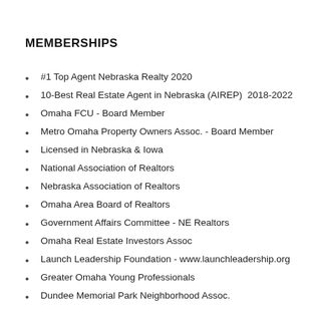MEMBERSHIPS
#1 Top Agent Nebraska Realty 2020
10-Best Real Estate Agent in Nebraska (AIREP)  2018-2022
Omaha FCU - Board Member
Metro Omaha Property Owners Assoc. - Board Member
Licensed in Nebraska & Iowa
National Association of Realtors
Nebraska Association of Realtors
Omaha Area Board of Realtors
Government Affairs Committee - NE Realtors
Omaha Real Estate Investors Assoc
Launch Leadership Foundation - www.launchleadership.org
Greater Omaha Young Professionals
Dundee Memorial Park Neighborhood Assoc.